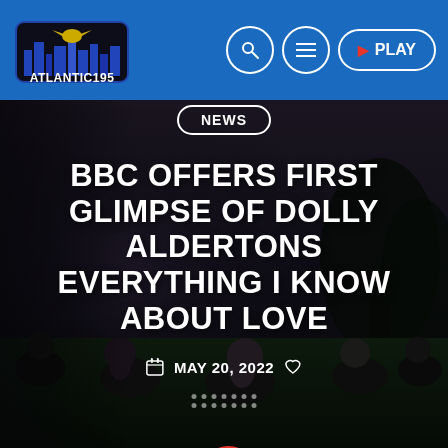ATLANTIC195 — Navigation bar with logo, search, menu, and PLAY button
[Figure (screenshot): Hero image showing group of young people sitting on grass at dusk/night]
NEWS
BBC OFFERS FIRST GLIMPSE OF DOLLY ALDERTONS EVERYTHING I KNOW ABOUT LOVE
MAY 20, 2022
[Figure (other): Dots pagination indicator and share button at bottom]